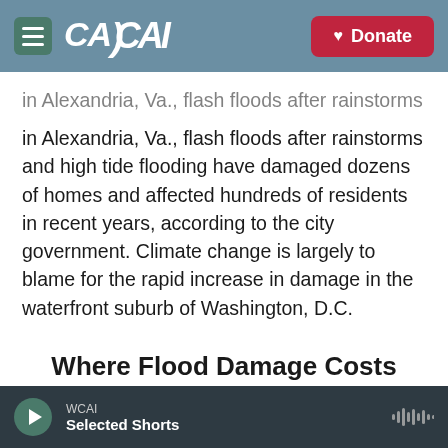CAI | Donate
in Alexandria, Va., flash floods after rainstorms and high tide flooding have damaged dozens of homes and affected hundreds of residents in recent years, according to the city government. Climate change is largely to blame for the rapid increase in damage in the waterfront suburb of Washington, D.C.
The First Street Foundation data suggest that in one particularly hard-hit area of a neighborhood called Del Ray, the cost of flood damage will increase by 76% in the next three decades.
Where Flood Damage Costs
WCAI | Selected Shorts